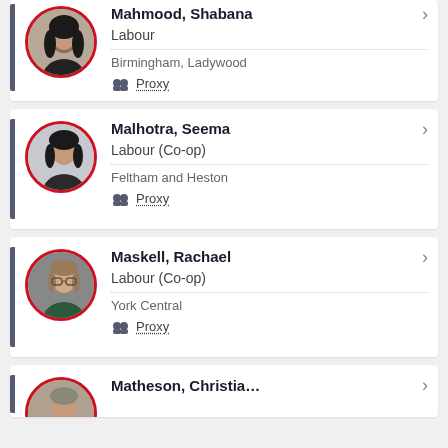Mahmood, Shabana | Labour | Birmingham, Ladywood | Proxy
Malhotra, Seema | Labour (Co-op) | Feltham and Heston | Proxy
Maskell, Rachael | Labour (Co-op) | York Central | Proxy
Matheson, Christian | (partial, cut off)